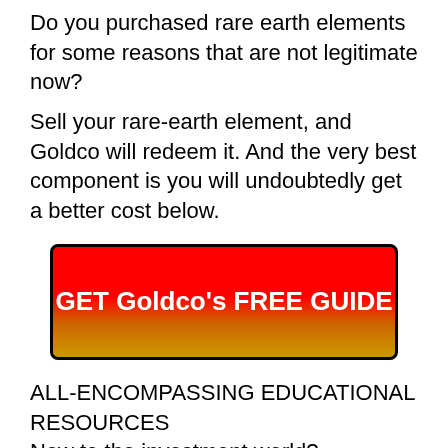Do you purchased rare earth elements for some reasons that are not legitimate now?
Sell your rare-earth element, and Goldco will redeem it. And the very best component is you will undoubtedly get a better cost below.
[Figure (other): Red to gold gradient button with text GET Goldco's FREE GUIDE in white bold font]
ALL-ENCOMPASSING EDUCATIONAL RESOURCES
New to the investment world?
Do not worry! At Goldco, you can access comprehensive academic resources to keep you educated about the appropriate option